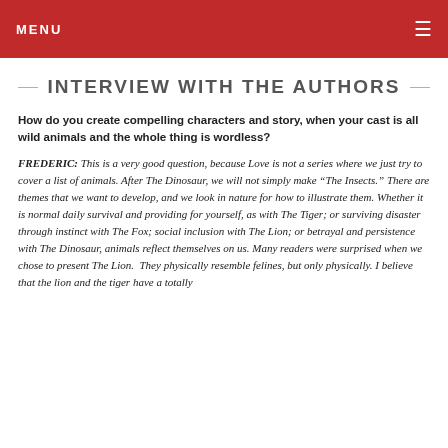MENU
INTERVIEW WITH THE AUTHORS
How do you create compelling characters and story, when your cast is all wild animals and the whole thing is wordless?
FREDERIC:  This is a very good question, because Love is not a series where we just try to cover a list of animals. After The Dinosaur, we will not simply make “The Insects.” There are themes that we want to develop, and we look in nature for how to illustrate them. Whether it is normal daily survival and providing for yourself, as with The Tiger; or surviving disaster through instinct with The Fox; social inclusion with The Lion; or betrayal and persistence with The Dinosaur, animals reflect themselves on us. Many readers were surprised when we chose to present The Lion.  They physically resemble felines, but only physically. I believe that the lion and the tiger have a totally